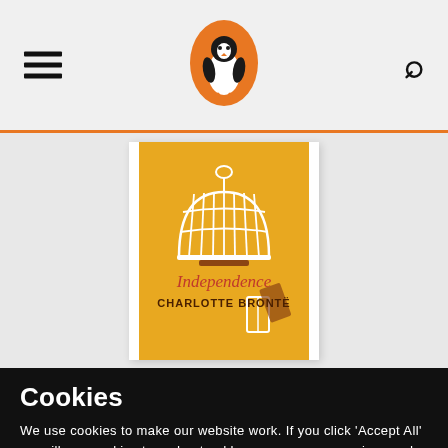[Figure (logo): Penguin Books logo — penguin silhouette inside an orange oval, centered in the header]
[Figure (photo): Book cover of 'Independence' by Charlotte Brontë — yellow/gold background with a white birdcage illustration. Title 'Independence' in orange serif italic text, author 'CHARLOTTE BRONTË' in brown uppercase text below.]
Cookies
We use cookies to make our website work. If you click 'Accept All' we will use cookies to understand how you use our services and to show you personalised advertising and other content. You can change your cookie settings by clicking 'Manage Cookies'. For more information please see our cookie policy